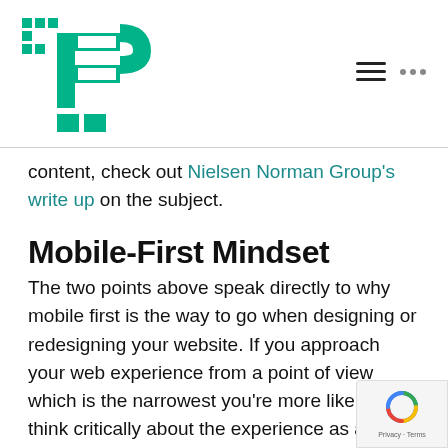[Logo: WPbuffs] [hamburger menu icon] [three dots icon]
content, check out Nielsen Norman Group's write up on the subject.
Mobile-First Mindset
The two points above speak directly to why mobile first is the way to go when designing or redesigning your website. If you approach your web experience from a point of view which is the narrowest you're more likely to think critically about the experience as a whole, regardless of screen size or device type.
Now, no website is perfect. Not by any means. the rest of Saint-Exupery's quote above rings true,